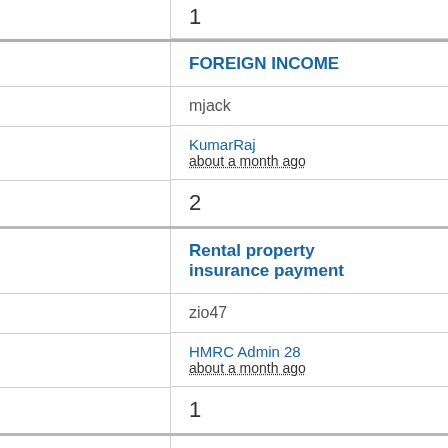1
FOREIGN INCOME
mjack
KumarRaj
about a month ago
2
Rental property insurance payment
zio47
HMRC Admin 28
about a month ago
1
Non-resident UK and foreign income
Beatrix